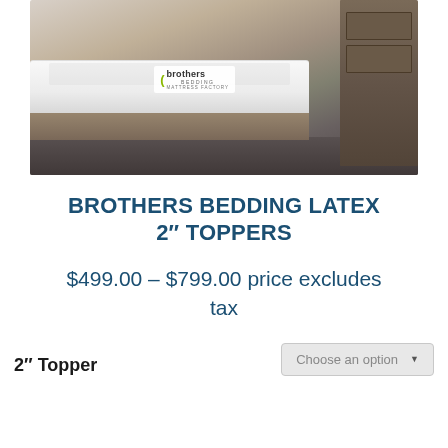[Figure (photo): Product photo of Brothers Bedding mattress on a bed frame with wooden nightstand in background. The mattress has a white quilted top and a Brothers Bedding Mattress Factory logo visible.]
BROTHERS BEDDING LATEX 2″ TOPPERS
$499.00 – $799.00 price excludes tax
2″ Topper